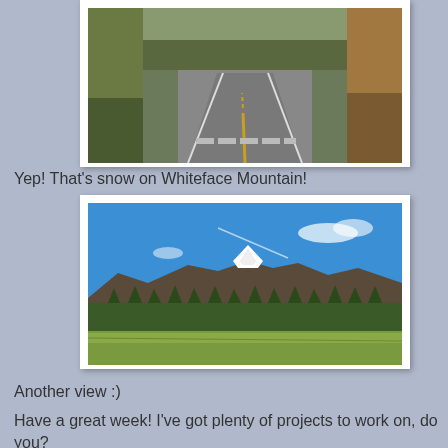[Figure (photo): A two-lane road stretching into the distance, flanked by trees with autumn foliage, with yellow center lines visible on the asphalt.]
Yep! That's snow on Whiteface Mountain!
[Figure (photo): A wide open field with a mountain range in the background, the peak of Whiteface Mountain dusted with snow under a bright blue sky.]
Another view :)
Have a great week! I've got plenty of projects to work on, do you?